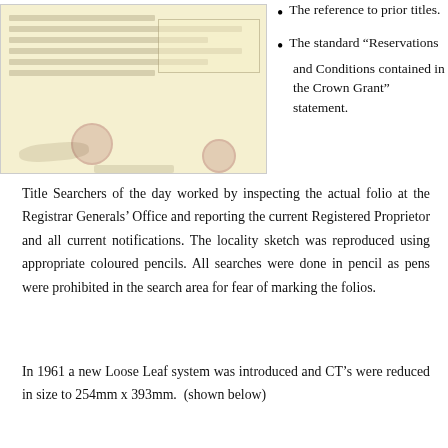[Figure (photo): Scanned old document/folio with handwritten text, official stamps, and a box with cursive writing, on yellowish paper background]
The reference to prior titles.
The standard “Reservations and Conditions contained in the Crown Grant” statement.
Title Searchers of the day worked by inspecting the actual folio at the Registrar Generals’ Office and reporting the current Registered Proprietor and all current notifications. The locality sketch was reproduced using appropriate coloured pencils. All searches were done in pencil as pens were prohibited in the search area for fear of marking the folios.
In 1961 a new Loose Leaf system was introduced and CT’s were reduced in size to 254mm x 393mm.  (shown below)